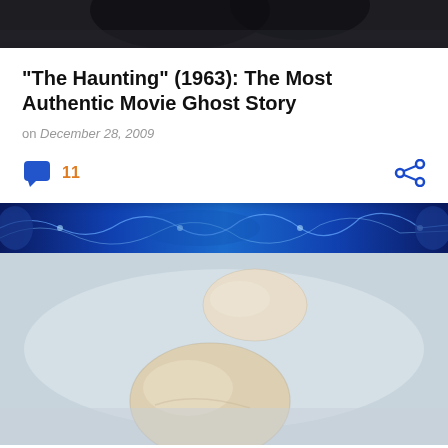[Figure (photo): Dark banner image at top of page, showing partial dark hair/figure against dark background]
"The Haunting" (1963): The Most Authentic Movie Ghost Story
on December 28, 2009
[Figure (infographic): Comment icon with count 11 and share icon]
[Figure (photo): Neural/brain pattern banner with blue electric lightning effect]
[Figure (photo): Two smooth white/beige stones levitating against a grey-white foggy background, the lower stone is larger]
Psychokinesis: The Ultimate Covert Manipulation